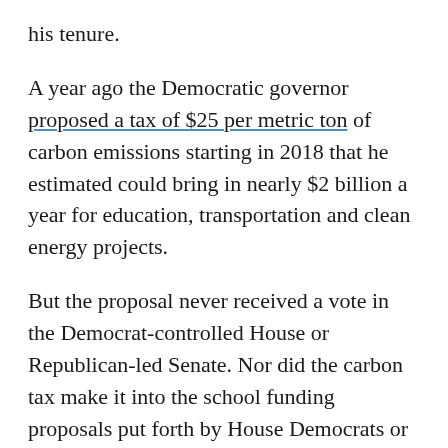his tenure.
A year ago the Democratic governor proposed a tax of $25 per metric ton of carbon emissions starting in 2018 that he estimated could bring in nearly $2 billion a year for education, transportation and clean energy projects.
But the proposal never received a vote in the Democrat-controlled House or Republican-led Senate. Nor did the carbon tax make it into the school funding proposals put forth by House Democrats or Senate Republicans.
Inslee insisted in his speech that the idea of putting a price on carbon is gaining support this year because the effects of climate change on Washington are clearly getting worse. And the rest of the world, as